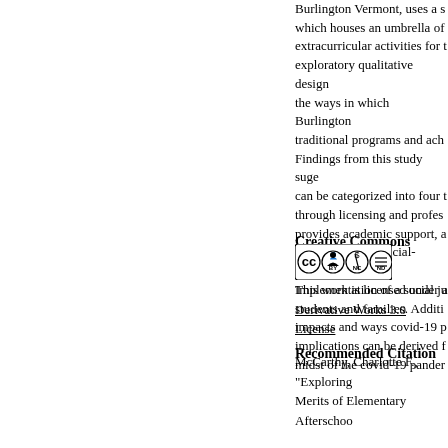Burlington Vermont, uses a school-day model which houses an umbrella of extracurricular activities for the students. An exploratory qualitative design was used to explore the ways in which Burlington balances non-traditional programs and achievement. Findings from this study suggest that the ways can be categorized into four themes: Quality through licensing and professional development, provides academic support, and enrichment, Prioritization of social-emotional learning, Implementation of a social justice lens to serve students and families. Additionally, the negative impacts and ways covid-19 progressed and implications can be derived from operating in the midst of the covid-19 pandemic.
Creative Commons License
[Figure (logo): Creative Commons BY NC ND license logo]
This work is licensed under a Creative Commons Attribution-NonCommercial-No Derivative Works 3.0 License.
Recommended Citation
McCarthy, Charlotte F., "Exploring...
Merits of Elementary Afterschoo...